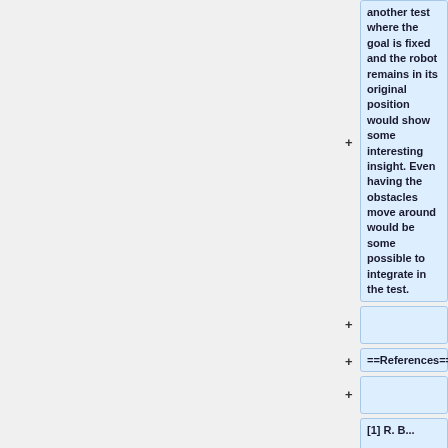another test where the goal is fixed and the robot remains in its original position would show some interesting insight. Even having the obstacles move around would be some possible to integrate in the test.
==References==
[1] R. B...